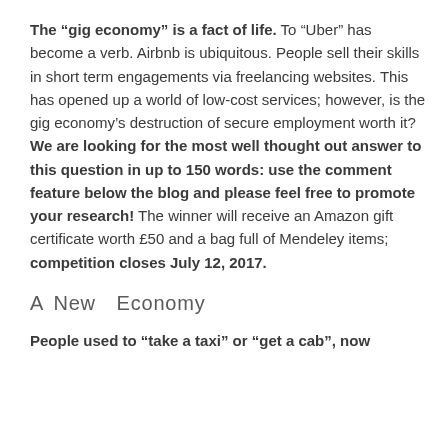The “gig economy” is a fact of life. To “Uber” has become a verb. Airbnb is ubiquitous. People sell their skills in short term engagements via freelancing websites. This has opened up a world of low-cost services; however, is the gig economy’s destruction of secure employment worth it? We are looking for the most well thought out answer to this question in up to 150 words: use the comment feature below the blog and please feel free to promote your research! The winner will receive an Amazon gift certificate worth £50 and a bag full of Mendeley items; competition closes July 12, 2017.
A New Economy
People used to “take a taxi” or “get a cab”, now